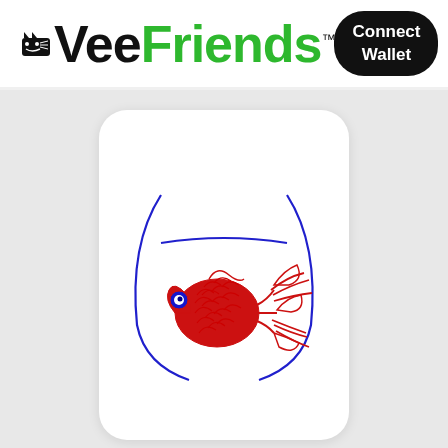VeeFriends™  Connect Wallet
[Figure (illustration): VeeFriends NFT card showing a hand-drawn red fish with squid-like tentacles inside a blue fish bowl outline on a white card background]